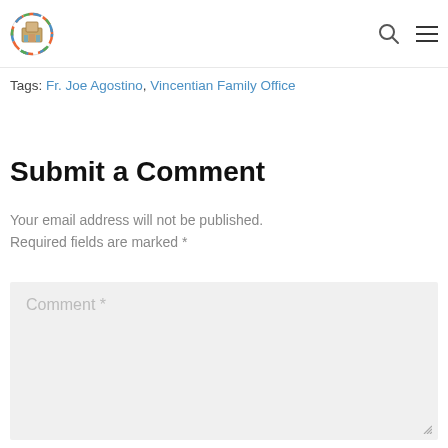[Logo] [Search icon] [Menu icon]
Tags: Fr. Joe Agostino, Vincentian Family Office
Submit a Comment
Your email address will not be published. Required fields are marked *
Comment *